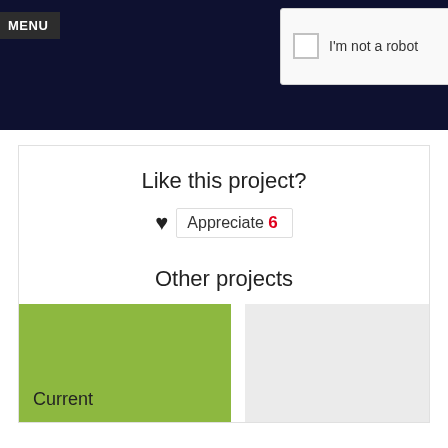[Figure (screenshot): reCAPTCHA widget with checkbox labeled 'I'm not a robot' and reCAPTCHA logo with Privacy and Terms links]
MENU
Like this project?
Appreciate 6
Other projects
Current